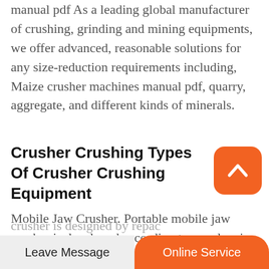manual pdf As a leading global manufacturer of crushing, grinding and mining equipments, we offer advanced, reasonable solutions for any size-reduction requirements including, Maize crusher machines manual pdf, quarry, aggregate, and different kinds of minerals.
Crusher Crushing Types Of Crusher Crushing Equipment
[Figure (other): Orange rounded square button with a white upward chevron/arrow icon]
Mobile Jaw Crusher. Portable mobile jaw crusher is developed according to novel series stone crushing equipment's design idea, the adaption . Adopting technology from the world, PY Series spring cone crusher has an excellent performance in secondary
Leave Message   Online Service
crusher is designed by repac